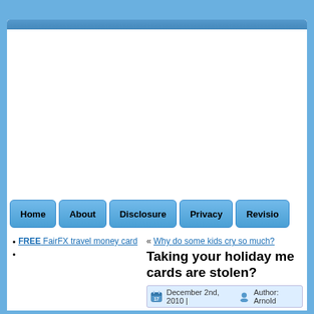[Figure (screenshot): Browser chrome top bar with blue gradient]
FREE FairFX travel money card
Home | About | Disclosure | Privacy | Revisio...
« Why do some kids cry so much?
Taking your holiday m... cards are stolen?
December 2nd, 2010 | Author: Arnold